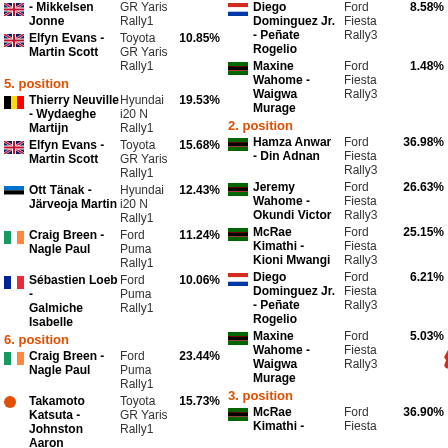Mikkelsen - Jonne | GR Yaris Rally1
Elfyn Evans - Martin Scott | Toyota GR Yaris Rally1 | 10.85%
5. position
Thierry Neuville - Wydaeghe Martijn | Hyundai i20 N Rally1 | 19.53%
Elfyn Evans - Martin Scott | Toyota GR Yaris Rally1 | 15.68%
Ott Tänak - Järveoja Martin | Hyundai i20 N Rally1 | 12.43%
Craig Breen - Nagle Paul | Ford Puma Rally1 | 11.24%
Sébastien Loeb - Galmiche Isabelle | Ford Puma Rally1 | 10.06%
6. position
Craig Breen - Nagle Paul | Ford Puma Rally1 | 23.44%
Takamoto Katsuta - Johnston Aaron | Toyota GR Yaris Rally1 | 15.73%
Elfyn Evans - | Toyota | 12.46%
Diego Dominguez Jr. - Peñate Rogelio | Ford Fiesta Rally3 | 8.58%
Maxine Wahome - Waigwa Murage | Ford Fiesta Rally3 | 1.48%
2. position
Hamza Anwar - Din Adnan | Ford Fiesta Rally3 | 36.98%
Jeremy Wahome - Okundi Victor | Ford Fiesta Rally3 | 26.63%
McRae Kimathi - Kioni Mwangi | Ford Fiesta Rally3 | 25.15%
Diego Dominguez Jr. - Peñate Rogelio | Ford Fiesta Rally3 | 6.21%
Maxine Wahome - Waigwa Murage | Ford Fiesta Rally3 | 5.03%
3. position
McRae Kimathi - | Ford Fiesta | 36.90%